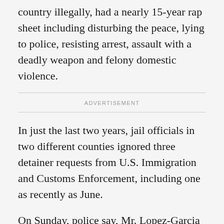country illegally, had a nearly 15-year rap sheet including disturbing the peace, lying to police, resisting arrest, assault with a deadly weapon and felony domestic violence.
ADVERTISEMENT
In just the last two years, jail officials in two different counties ignored three detainer requests from U.S. Immigration and Customs Enforcement, including one as recently as June.
On Sunday, police say, Mr. Lopez-Garcia was free on the streets and likely high on methamphetamine when he stabbed five people at a Baptist church that also runs a